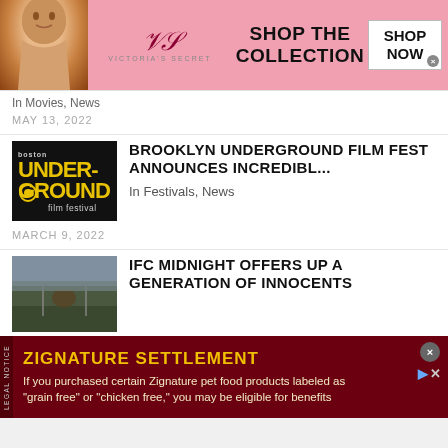[Figure (photo): Victoria's Secret advertisement banner with model and 'SHOP THE COLLECTION / SHOP NOW' text]
In Movies, News
MAY 13, 2022
[Figure (logo): Boston Underground Film Festival logo - yellow and dark graphic]
BROOKLYN UNDERGROUND FILM FEST ANNOUNCES INCREDIBL...
In Festivals, News
MARCH 9, 2022
[Figure (photo): Outdoor scene still from Generation of Innocents film]
IFC MIDNIGHT OFFERS UP A GENERATION OF INNOCENTS
In News
MARCH 1, 2022
[Figure (infographic): Zignature Settlement legal notice advertisement: dark red background, yellow title ZIGNATURE SETTLEMENT, white text about pet food product class action]